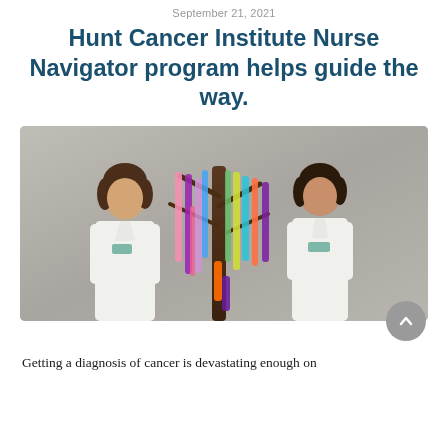September 21, 2021
Hunt Cancer Institute Nurse Navigator program helps guide the way.
[Figure (photo): Two women in white medical coats standing in front of a decorative tree with colorful ribbons hanging from it in various colors including pink, purple, green, blue, and orange.]
Getting a diagnosis of cancer is devastating enough on